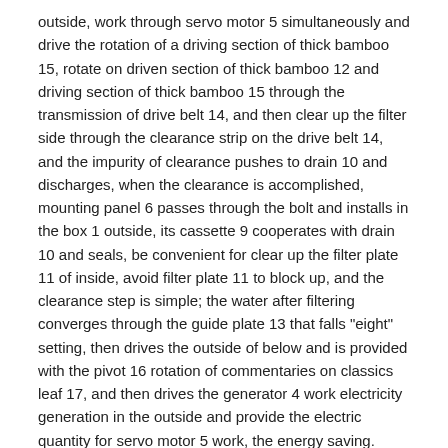outside, work through servo motor 5 simultaneously and drive the rotation of a driving section of thick bamboo 15, rotate on driven section of thick bamboo 12 and driving section of thick bamboo 15 through the transmission of drive belt 14, and then clear up the filter side through the clearance strip on the drive belt 14, and the impurity of clearance pushes to drain 10 and discharges, when the clearance is accomplished, mounting panel 6 passes through the bolt and installs in the box 1 outside, its cassette 9 cooperates with drain 10 and seals, be convenient for clear up the filter plate 11 of inside, avoid filter plate 11 to block up, and the clearance step is simple; the water after filtering converges through the guide plate 13 that falls "eight" setting, then drives the outside of below and is provided with the pivot 16 rotation of commentaries on classics leaf 17, and then drives the generator 4 work electricity generation in the outside and provide the electric quantity for servo motor 5 work, the energy saving.
The preferred embodiments of the present invention disclosed above are intended only to help illustrate the present invention. The preferred embodiments are not